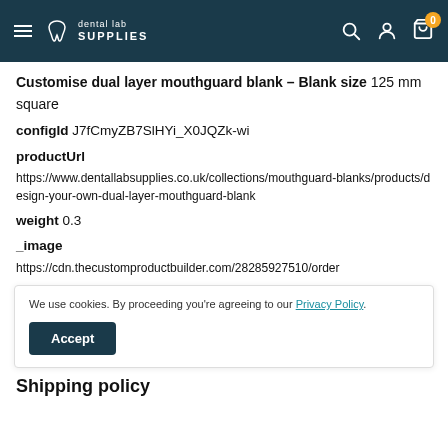dental lab SUPPLIES — navigation header with hamburger menu, search, account, and cart icons
Customise dual layer mouthguard blank – Blank size 125 mm square
configId J7fCmyZB7SlHYi_X0JQZk-wi
productUrl
https://www.dentallabsupplies.co.uk/collections/mouthguard-blanks/products/design-your-own-dual-layer-mouthguard-blank
weight 0.3
_image
https://cdn.thecustomproductbuilder.com/28285927510/order
We use cookies. By proceeding you're agreeing to our Privacy Policy.
Shipping policy